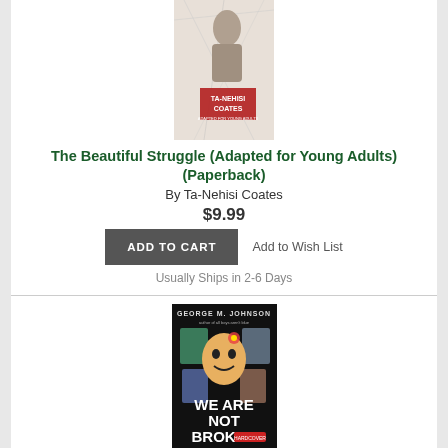[Figure (illustration): Book cover of 'The Beautiful Struggle (Adapted for Young Adults)' by Ta-Nehisi Coates, showing a person's silhouette against a sketchy background with red author name text]
The Beautiful Struggle (Adapted for Young Adults) (Paperback)
By Ta-Nehisi Coates
$9.99
Add to Wish List
ADD TO CART
Usually Ships in 2-6 Days
[Figure (illustration): Book cover of 'We Are Not Broken' by George M. Johnson showing a smiling young man surrounded by photo cutouts on a dark background with bold white text]
We Are Not Broken (Hardcover)
By George M. Johnson
$17.99